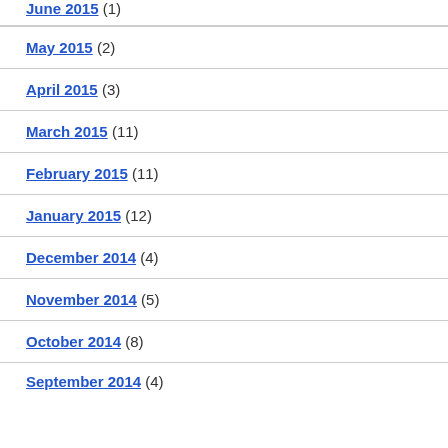June 2015 (1)
May 2015 (2)
April 2015 (3)
March 2015 (11)
February 2015 (11)
January 2015 (12)
December 2014 (4)
November 2014 (5)
October 2014 (8)
September 2014 (4)